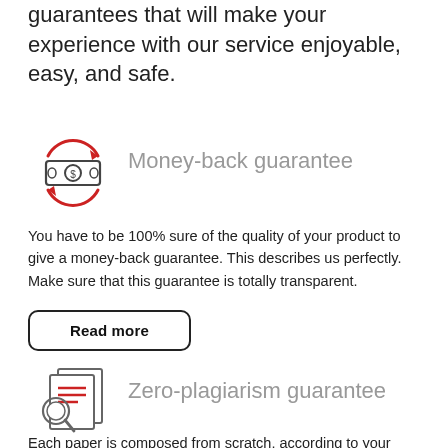That's why we have developed 5 beneficial guarantees that will make your experience with our service enjoyable, easy, and safe.
[Figure (illustration): Red circular arrows icon with a money/cash rectangle with coin symbols inside, representing a money-back guarantee]
Money-back guarantee
You have to be 100% sure of the quality of your product to give a money-back guarantee. This describes us perfectly. Make sure that this guarantee is totally transparent.
Read more
[Figure (illustration): Icon of documents/papers with a magnifying glass over text lines, representing a zero-plagiarism guarantee]
Zero-plagiarism guarantee
Each paper is composed from scratch, according to your